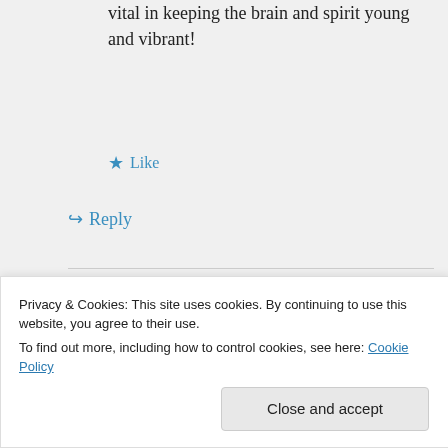vital in keeping the brain and spirit young and vibrant!
★ Like
↪ Reply
Bernadette on May 19, 2016 at 11:38 pm
Perhaps you could write an article on the importance of unlocking our
Privacy & Cookies: This site uses cookies. By continuing to use this website, you agree to their use.
To find out more, including how to control cookies, see here: Cookie Policy
Close and accept